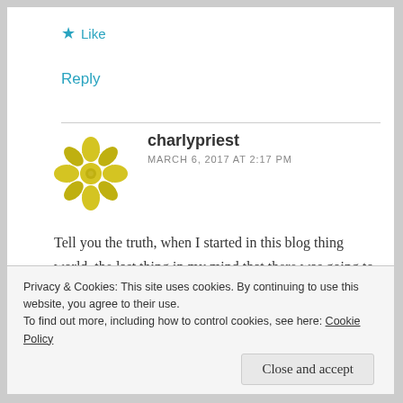★ Like
Reply
[Figure (logo): Yellow geometric flower/mandala avatar icon for user charlypriest]
charlypriest
MARCH 6, 2017 AT 2:17 PM
Tell you the truth, when I started in this blog thing world, the last thing in my mind that there was going to be 2000 plus followers. I'm not even a good writier but
Privacy & Cookies: This site uses cookies. By continuing to use this website, you agree to their use.
To find out more, including how to control cookies, see here: Cookie Policy
Close and accept